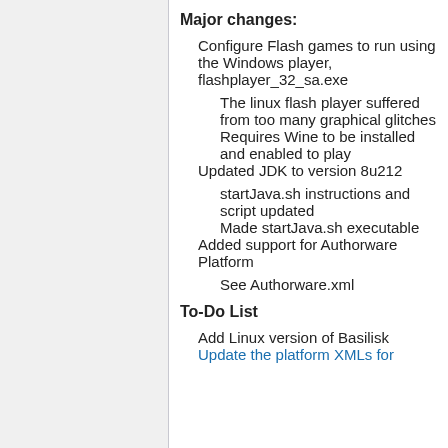Major changes:
Configure Flash games to run using the Windows player, flashplayer_32_sa.exe
The linux flash player suffered from too many graphical glitches
Requires Wine to be installed and enabled to play
Updated JDK to version 8u212
startJava.sh instructions and script updated
Made startJava.sh executable
Added support for Authorware Platform
See Authorware.xml
To-Do List
Add Linux version of Basilisk
Update the platform XMLs for ...